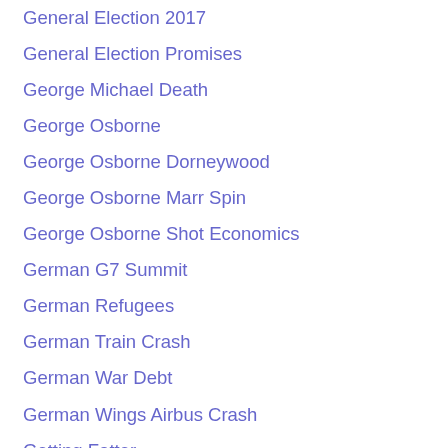General Election 2017
General Election Promises
George Michael Death
George Osborne
George Osborne Dorneywood
George Osborne Marr Spin
George Osborne Shot Economics
German G7 Summit
German Refugees
German Train Crash
German War Debt
German Wings Airbus Crash
Getting Fatter
Getting Old
Ghost Spanish Airport
Giant Rats
Gift Of Time
Gitmo